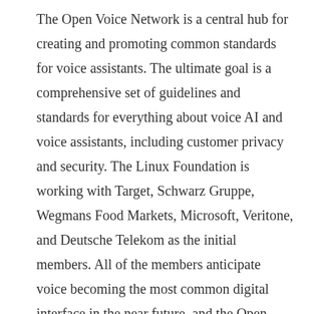The Open Voice Network is a central hub for creating and promoting common standards for voice assistants. The ultimate goal is a comprehensive set of guidelines and standards for everything about voice AI and voice assistants, including customer privacy and security. The Linux Foundation is working with Target, Schwarz Gruppe, Wegmans Food Markets, Microsoft, Veritone, and Deutsche Telekom as the initial members. All of the members anticipate voice becoming the most common digital interface in the near future, and the Open Voice Network is how they plan to meet that moment. Each is committing money and other resources to create the standards, sharing them with others in the industry, and advocating on behalf of groups and companies that are using voice tech.